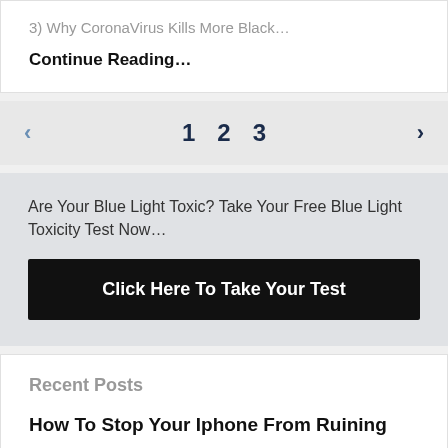3) Why CoronaVirus Kills More Black…
Continue Reading…
1  2  3
Are Your Blue Light Toxic? Take Your Free Blue Light Toxicity Test Now…
Click Here To Take Your Test
Recent Posts
How To Stop Your Iphone From Ruining